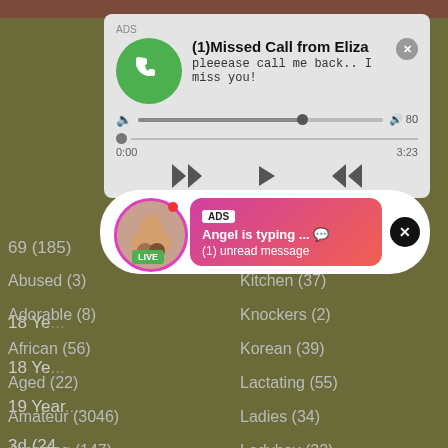[Figure (screenshot): Audio player advertisement popup showing missed call from Eliza with phone icon, progress bar, and playback controls]
[Figure (screenshot): Chat notification ad showing Angel is typing with LIVE badge and unread message indicator]
18 Ye...
19 Year...
3d (24...
3som...
69 (185)
Abused (3)
Kitchen (37)
Adorable (8)
Knockers (2)
African (56)
Korean (39)
Aged (22)
Lactating (55)
Amateur (3046)
Ladies (34)
Amazing (147)
Ladyboy (32)